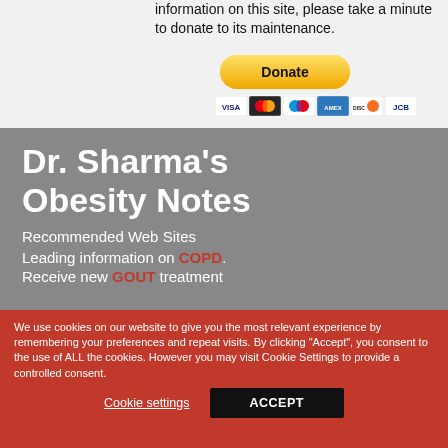information on this site, please take a minute to donate to its maintenance.
[Figure (other): Yellow PayPal Donate button with rounded edges]
[Figure (other): Payment method icons: Visa, Mastercard, Maestro, American Express, Discover, JCB]
Dr. Sharma's Obesity Notes
Recommended Web Sites
Leading information on COPD.
Receive new GOUT treatment
We use cookies on our website to give you the most relevant experience by remembering your preferences and repeat visits. By clicking "Accept", you consent to the use of ALL the cookies. However you may visit Cookie Settings to provide a controlled consent.
Cookie settings
ACCEPT